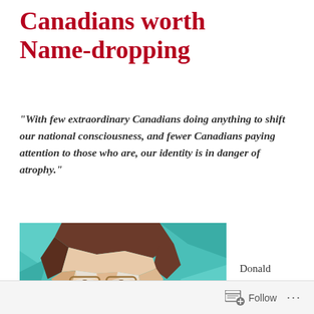Canadians worth Name-dropping
“With few extraordinary Canadians doing anything to shift our national consciousness, and fewer Canadians paying attention to those who are, our identity is in danger of atrophy.”
[Figure (illustration): A low-poly geometric portrait illustration of a man with brown hair and glasses against a teal/turquoise background. The face is rendered in faceted polygon shapes in skin tones, cream, and peach.]
Donald
Follow ...